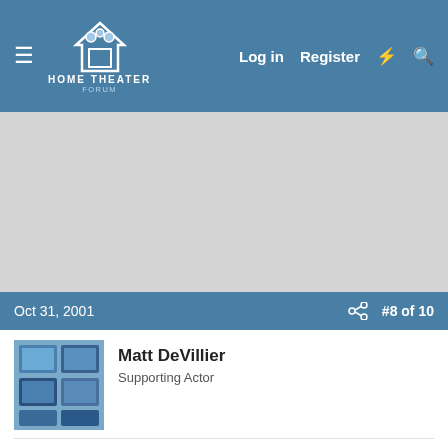Home Theater Forum — Log in | Register
[Figure (screenshot): Gray advertisement banner area]
Oct 31, 2001   #8 of 10
Matt DeVillier
Supporting Actor
Jacob,
you can make a WinME boot disk by going to start->settings->control panel, opening the 'add/remove programs' panel, and clicking on the 'startup disk' tab at the top
-Matt
My DVD collection